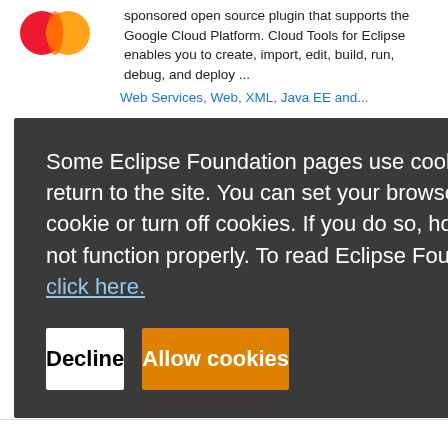[Figure (logo): Mastercard-style logo (orange and red overlapping circles) in top left]
sponsored open source plugin that supports the Google Cloud Platform. Cloud Tools for Eclipse enables you to create, import, edit, build, run, debug, and deploy ...
Some Eclipse Foundation pages use cookies to better serve you when you return to the site. You can set your browser to notify you before you receive a cookie or turn off cookies. If you do so, however, some areas of some sites may not function properly. To read Eclipse Foundation Privacy Policy click here.
Decline
Allow cookies